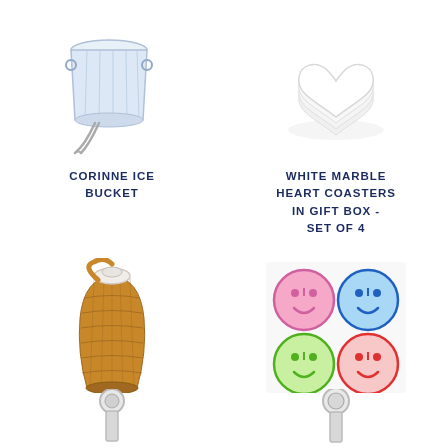[Figure (illustration): Glass ice bucket with metal tongs]
CORINNE ICE BUCKET
[Figure (illustration): Stack of white marble heart-shaped coasters]
WHITE MARBLE HEART COASTERS IN GIFT BOX - SET OF 4
[Figure (illustration): Rattan-covered stainless steel thermos with white clasp]
LITER STAINLESS STEEL THERMOS
[Figure (illustration): Set of four colorful smiley face coasters - pink, blue, green, red]
ALL SMILES COASTER SET
[Figure (illustration): Partial view of item with circular silver knob - bottom left]
[Figure (illustration): Partial view of item with circular silver knob - bottom right]